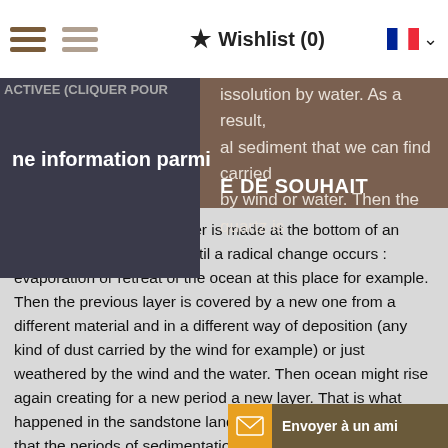Wishlist (0)
ACTIVEE (CLIQUER POUR
issolution by water. As a result, al sediment that we can find carried by wind or water. Then the quartz is
ne information parmi
E DE SOUHAIT
oceans and that way a layer is made at the bottom of an ocean. This layer grows until a radical change occurs : evaporation or retreat of the ocean at this place for example. Then the previous layer is covered by a new one from a different material and in a different way of deposition (any kind of dust carried by the wind for example) or just weathered by the wind and the water. Then ocean might rise again creating for a new period a new layer. That is what happened in the sandstone land showing many layers, sign that the periods of sedimentation have been relatively short and/or frequent. We have also observed at some places some rocks higher than the others ; the explanation comes from the fact that the peak has been protected by the erosion by a cap made of a tougher material than the rest of the layer. Therefore, the rest of the layer has been eroded and not this part, ttin formed at this place. We also saw som dramatic difference of erosion, usuall
Envoyer à un ami